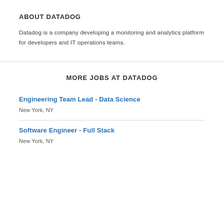ABOUT DATADOG
Datadog is a company developing a monitoring and analytics platform for developers and IT operations teams.
MORE JOBS AT DATADOG
Engineering Team Lead - Data Science
New York, NY
Software Engineer - Full Stack
New York, NY